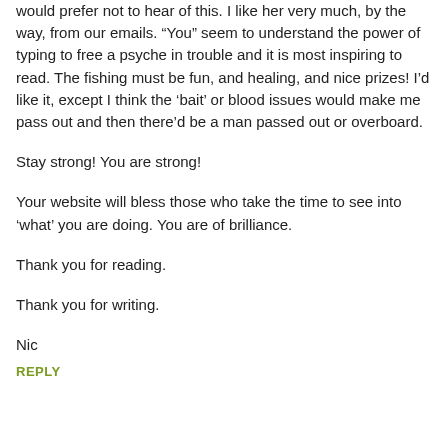would prefer not to hear of this. I like her very much, by the way, from our emails. “You” seem to understand the power of typing to free a psyche in trouble and it is most inspiring to read. The fishing must be fun, and healing, and nice prizes! I’d like it, except I think the ‘bait’ or blood issues would make me pass out and then there’d be a man passed out or overboard.
Stay strong! You are strong!
Your website will bless those who take the time to see into ‘what’ you are doing. You are of brilliance.
Thank you for reading.
Thank you for writing.
Nic
REPLY